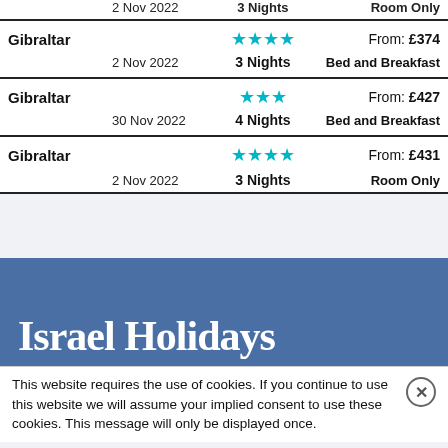| Destination | Date | Duration | Price / Board |
| --- | --- | --- | --- |
| Gibraltar | 2 Nov 2022 | 3 Nights | From: £374 / Bed and Breakfast |
| Gibraltar | 30 Nov 2022 | 4 Nights | From: £427 / Bed and Breakfast |
| Gibraltar | 2 Nov 2022 | 3 Nights | From: £431 / Room Only |
[Figure (illustration): Blue banner with 'Israel Holidays' written in white cursive/script font on a steel-blue background]
This website requires the use of cookies. If you continue to use this website we will assume your implied consent to use these cookies. This message will only be displayed once.